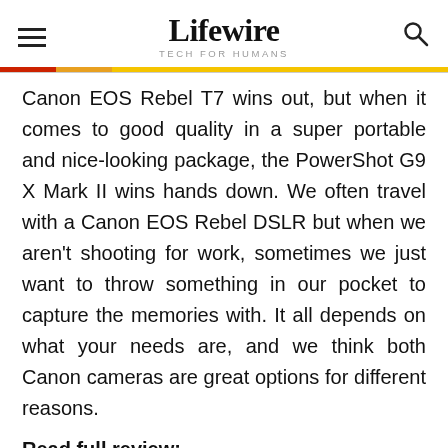Lifewire — TECH FOR HUMANS
Canon EOS Rebel T7 wins out, but when it comes to good quality in a super portable and nice-looking package, the PowerShot G9 X Mark II wins hands down. We often travel with a Canon EOS Rebel DSLR but when we aren't shooting for work, sometimes we just want to throw something in our pocket to capture the memories with. It all depends on what your needs are, and we think both Canon cameras are great options for different reasons.
Read full review: